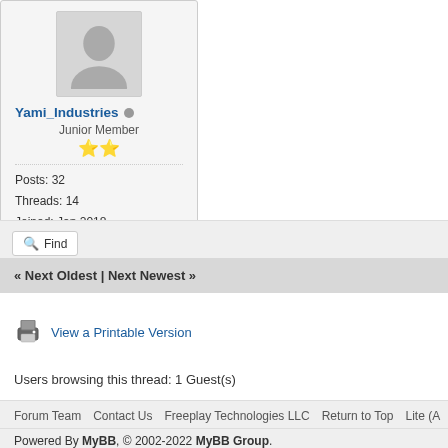[Figure (other): User avatar placeholder (generic person silhouette in grey box)]
Yami_Industries (offline status dot)
Junior Member
★★ (two gold stars rating)
Posts: 32
Threads: 14
Joined: Jan 2018
Reputation: 0
Find
« Next Oldest | Next Newest »
View a Printable Version
Users browsing this thread: 1 Guest(s)
Forum Team   Contact Us   Freeplay Technologies LLC   Return to Top   Lite (A...
Powered By MyBB, © 2002-2022 MyBB Group.